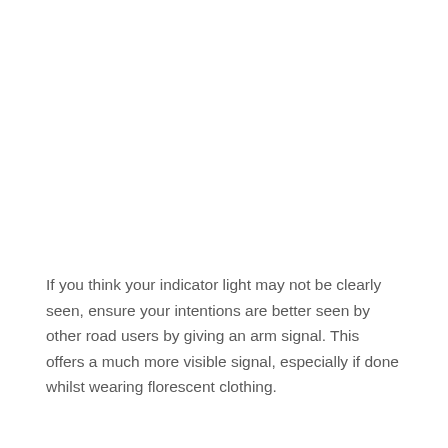If you think your indicator light may not be clearly seen, ensure your intentions are better seen by other road users by giving an arm signal. This offers a much more visible signal, especially if done whilst wearing florescent clothing.